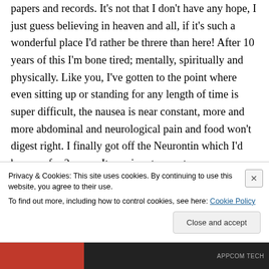papers and records. It's not that I don't have any hope, I just guess believing in heaven and all, if it's such a wonderful place I'd rather be threre than here! After 10 years of this I'm bone tired; mentally, spiritually and physically. Like you, I've gotten to the point where even sitting up or standing for any length of time is super difficult, the nausea is near constant, more and more abdominal and neurological pain and food won't digest right. I finally got off the Neurontin which I'd been on for 2 years. It was in retrospect a
Privacy & Cookies: This site uses cookies. By continuing to use this website, you agree to their use. To find out more, including how to control cookies, see here: Cookie Policy
Close and accept